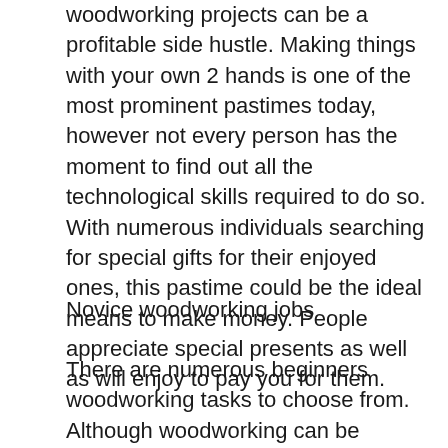woodworking projects can be a profitable side hustle. Making things with your own 2 hands is one of the most prominent pastimes today, however not every person has the moment to find out all the technological skills required to do so. With numerous individuals searching for special gifts for their enjoyed ones, this pastime could be the ideal means to make money. People appreciate special presents as well as will enjoy to pay you for them.
Novice woodworking jobs
There are numerous beginners woodworking tasks to choose from. Although woodworking can be difficult, these projects do not need specialist devices. The novice to such